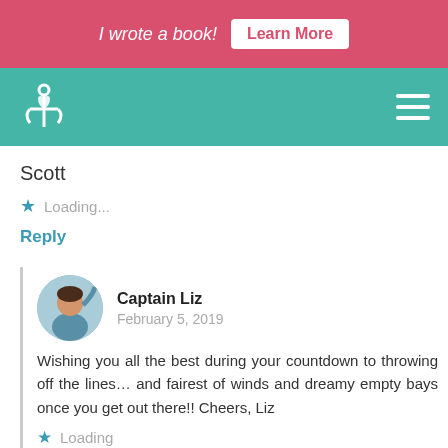I wrote a book! Learn More
[Figure (logo): Navigation bar with anchor+heart logo on teal background and hamburger menu icon]
Scott
★ Loading...
Reply
[Figure (photo): Circular avatar photo of Captain Liz on a boat]
Captain Liz
February 5, 2019
Wishing you all the best during your countdown to throwing off the lines… and fairest of winds and dreamy empty bays once you get out there!! Cheers, Liz
★ Loading